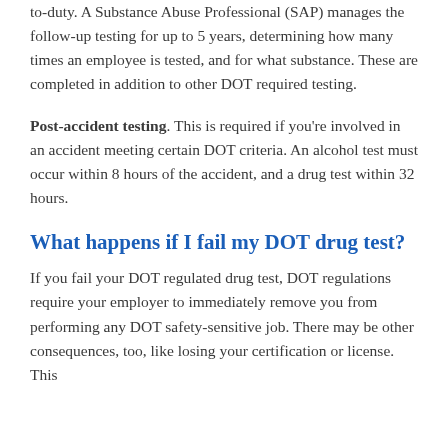to-duty. A Substance Abuse Professional (SAP) manages the follow-up testing for up to 5 years, determining how many times an employee is tested, and for what substance. These are completed in addition to other DOT required testing.
Post-accident testing. This is required if you're involved in an accident meeting certain DOT criteria. An alcohol test must occur within 8 hours of the accident, and a drug test within 32 hours.
What happens if I fail my DOT drug test?
If you fail your DOT regulated drug test, DOT regulations require your employer to immediately remove you from performing any DOT safety-sensitive job. There may be other consequences, too, like losing your certification or license. This